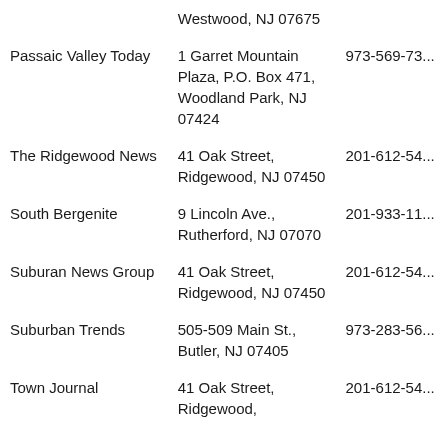| Name | Address | Phone |
| --- | --- | --- |
|  | Westwood, NJ 07675 |  |
| Passaic Valley Today | 1 Garret Mountain Plaza, P.O. Box 471, Woodland Park, NJ 07424 | 973-569-73... |
| The Ridgewood News | 41 Oak Street, Ridgewood, NJ 07450 | 201-612-54... |
| South Bergenite | 9 Lincoln Ave., Rutherford, NJ 07070 | 201-933-11... |
| Suburan News Group | 41 Oak Street, Ridgewood, NJ 07450 | 201-612-54... |
| Suburban Trends | 505-509 Main St., Butler, NJ 07405 | 973-283-56... |
| Town Journal | 41 Oak Street, Ridgewood, | 201-612-54... |